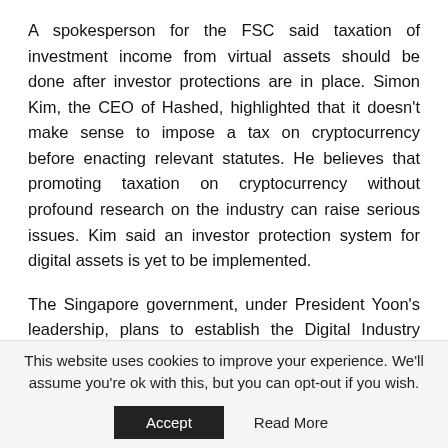A spokesperson for the FSC said taxation of investment income from virtual assets should be done after investor protections are in place. Simon Kim, the CEO of Hashed, highlighted that it doesn't make sense to impose a tax on cryptocurrency before enacting relevant statutes. He believes that promoting taxation on cryptocurrency without profound research on the industry can raise serious issues. Kim said an investor protection system for digital assets is yet to be implemented.
The Singapore government, under President Yoon's leadership, plans to establish the Digital Industry Promotion Agency. It will serve as a reference point for regulatory
This website uses cookies to improve your experience. We'll assume you're ok with this, but you can opt-out if you wish.